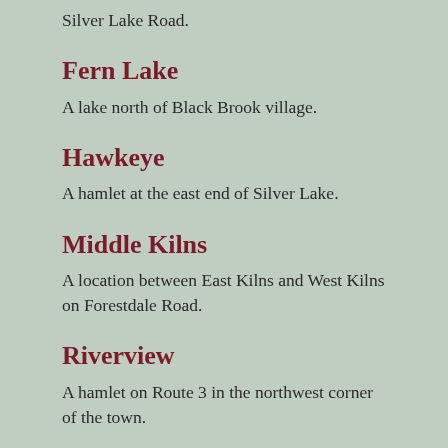Silver Lake Road.
Fern Lake
A lake north of Black Brook village.
Hawkeye
A hamlet at the east end of Silver Lake.
Middle Kilns
A location between East Kilns and West Kilns on Forestdale Road.
Riverview
A hamlet on Route 3 in the northwest corner of the town.
Silver Lake